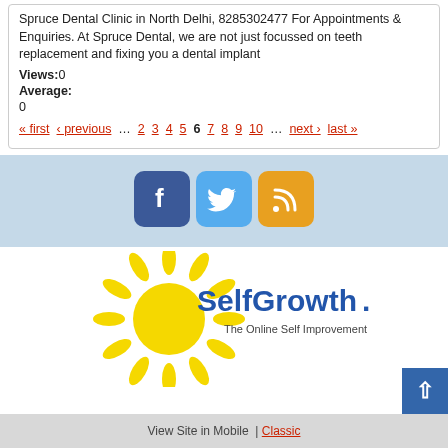Spruce Dental Clinic in North Delhi, 8285302477 For Appointments & Enquiries. At Spruce Dental, we are not just focussed on teeth replacement and fixing you a dental implant
Views:0
Average:
0
« first ‹ previous … 2 3 4 5 6 7 8 9 10 … next › last »
[Figure (logo): Facebook, Twitter, and RSS social media icon buttons]
[Figure (logo): SelfGrowth.com logo with sun graphic and tagline 'The Online Self Improvement Community']
View Site in Mobile  |  Classic